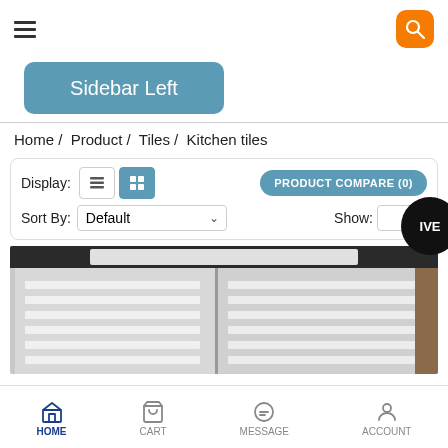≡ [hamburger menu] | [search button]
Sidebar Left
Home / Product / Tiles / Kitchen tiles
Display: [list view] [grid view] | PRODUCT COMPARE (0) | Sort By: Default ∨ | Show: IVE
[Figure (photo): Photo of stacked white kitchen tiles in a warehouse or store setting]
HOME | CART | MESSAGE | ACCOUNT